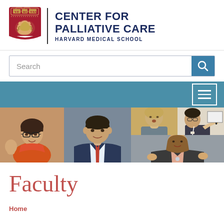[Figure (logo): Harvard Medical School Center for Palliative Care logo with Harvard shield and text]
[Figure (screenshot): Search bar with text input field and blue search button]
[Figure (screenshot): Teal navigation bar with hamburger menu icon on right]
[Figure (photo): Photo strip with four photos of faculty members: woman with glasses gesturing, man in suit, woman speaking, man writing on board, woman presenting]
Faculty
Home